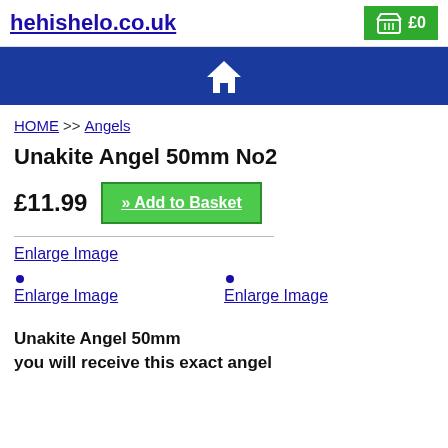hehishelo.co.uk
[Figure (infographic): Navigation bar with house/home icon on dark blue background]
HOME >> Angels
Unakite Angel 50mm No2
£11.99   » Add to Basket
Enlarge Image
Enlarge Image
Enlarge Image
Unakite Angel 50mm
you will receive this exact angel